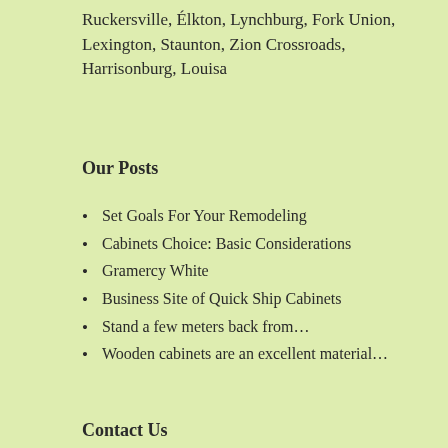Ruckersville, Élkton, Lynchburg, Fork Union, Lexington, Staunton, Zion Crossroads, Harrisonburg, Louisa
Our Posts
Set Goals For Your Remodeling
Cabinets Choice: Basic Considerations
Gramercy White
Business Site of Quick Ship Cabinets
Stand a few meters back from…
Wooden cabinets are an excellent material…
Contact Us
3552 Seminole Trail
Charlottesville, VA 22911
434 205-1465
info@quickshipcabinets.com
Operation Hours